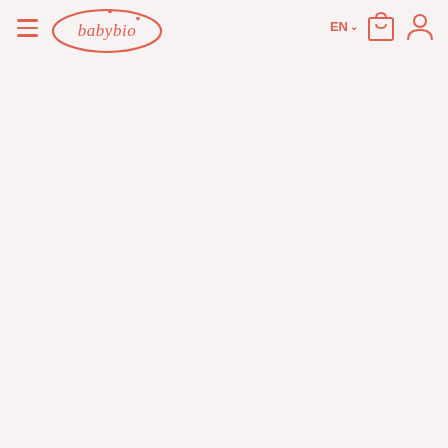[Figure (logo): babybio brand logo — oval border with 'babybio' text and a small heart/leaf motif, rendered in coral/salmon pink]
[Figure (other): Navigation bar with hamburger menu icon, babybio logo, EN language selector with chevron, shopping bag icon, and user/account icon, all in coral pink on light pinkish-beige background]